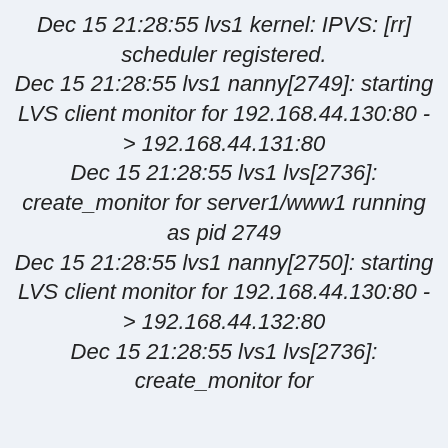Dec 15 21:28:55 lvs1 kernel: IPVS: [rr] scheduler registered. Dec 15 21:28:55 lvs1 nanny[2749]: starting LVS client monitor for 192.168.44.130:80 -> 192.168.44.131:80 Dec 15 21:28:55 lvs1 lvs[2736]: create_monitor for server1/www1 running as pid 2749 Dec 15 21:28:55 lvs1 nanny[2750]: starting LVS client monitor for 192.168.44.130:80 -> 192.168.44.132:80 Dec 15 21:28:55 lvs1 lvs[2736]: create_monitor for